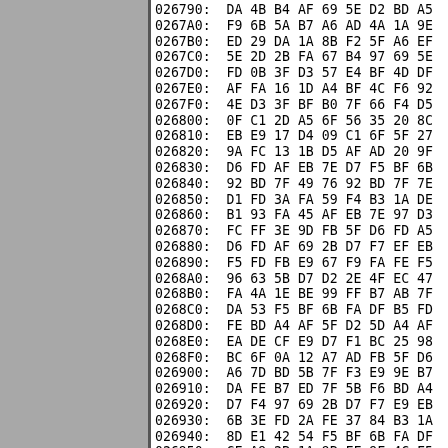[Figure (other): Gray panel on left side of page, approximately 148px wide]
026790: DA 4B B4 AF 69 5E D2 BD A5
0267A0: F9 6B 5A B7 A6 AD 4A 1A 9E
0267B0: ED 29 DA 1A 8B F2 5F A6 EF
0267C0: 5E 2D 2B FA 67 B4 97 69 5E
0267D0: FD 0B 3F D3 57 E4 BF 4D DF
0267E0: AF FA 16 1D A4 BF 4C F6 92
0267F0: 4E D3 3F BF B0 7F 66 F4 D5
026800: 0F C1 2D A5 6F 56 35 20 8C
026810: EB E9 17 D4 09 C1 6F 5F 27
026820: 9A FC 13 1B D5 AF AD 20 9F
026830: D6 FD AF EB 7E D7 F5 BF 6B
026840: 92 BD 7F 49 76 92 BD 7F 7E
026850: D1 FD 3A FA 59 F4 B3 1A DE
026860: B1 93 FA 45 AF EB 7E 97 D3
026870: FC FF 3E 9D FB 5F D6 FD A5
026880: D6 FD AF 69 2B D7 F7 EF EB
026890: F5 FD FB E9 67 F9 FA FE F5
0268A0: 96 63 5B D7 D2 2E 4F EC 47
0268B0: FA 4A 1E BE 99 FF B7 AB 7F
0268C0: DA 53 F5 BF 6B FA DF B5 FD
0268D0: FE BD A4 AF 5F D2 5D A4 AF
0268E0: EA DE CF E9 D7 F1 BC 25 98
0268F0: BC 6F 0A 12 A7 AD FB 5F D6
026900: A6 7D BD 5B 7F F3 E9 9E B7
026910: DA FE B7 ED 7F 5B F6 BD A4
026920: D7 F4 97 69 2B D7 F7 E9 EB
026930: 6B 3E FD 2A FE 37 84 B3 1A
026940: 8D E1 42 54 F5 BF 6B FA DF
026950: CF A9 2B 1A 9B FF 9F 4C F5
026960: 7E D7 F5 BF 6B FA DF B5 ED